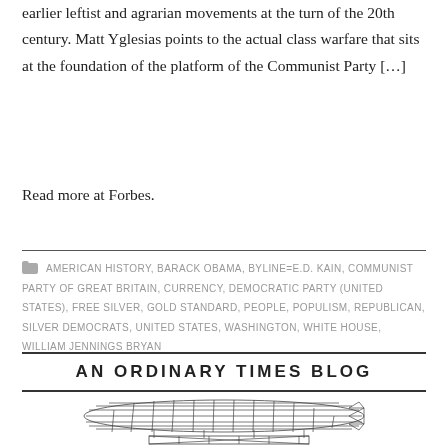earlier leftist and agrarian movements at the turn of the 20th century. Matt Yglesias points to the actual class warfare that sits at the foundation of the platform of the Communist Party […]
Read more at Forbes.
AMERICAN HISTORY, BARACK OBAMA, BYLINE=E.D. KAIN, COMMUNIST PARTY OF GREAT BRITAIN, CURRENCY, DEMOCRATIC PARTY (UNITED STATES), FREE SILVER, GOLD STANDARD, PEOPLE, POPULISM, REPUBLICAN, SILVER DEMOCRATS, UNITED STATES, WASHINGTON, WHITE HOUSE, WILLIAM JENNINGS BRYAN
AN ORDINARY TIMES BLOG
[Figure (illustration): Line drawing / engineering schematic of a dirigible blimp airship viewed from the side, showing structural wireframe grid lines on the envelope and a gondola/framework beneath.]